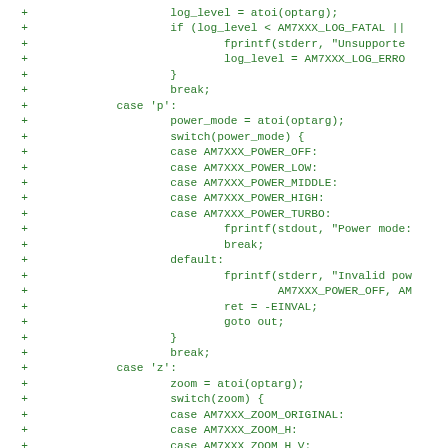Code diff showing switch/case logic for log_level, power_mode, and zoom in C source file. Lines prefixed with '+' indicate additions.